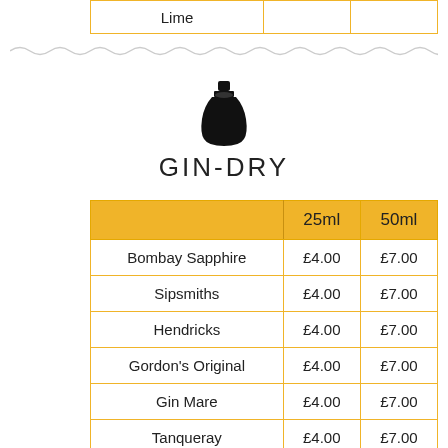|  | 25ml | 50ml |
| --- | --- | --- |
| Bombay Sapphire | £4.00 | £7.00 |
| Sipsmiths | £4.00 | £7.00 |
| Hendricks | £4.00 | £7.00 |
| Gordon's Original | £4.00 | £7.00 |
| Gin Mare | £4.00 | £7.00 |
| Tanqueray | £4.00 | £7.00 |
| Gordon's Non | £3.00 | £5.00 |